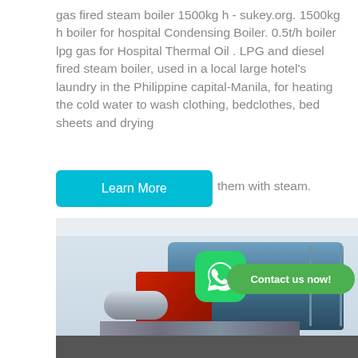gas fired steam boiler 1500kg h - sukey.org. 1500kg h boiler for hospital Condensing Boiler. 0.5t/h boiler lpg gas for Hospital Thermal Oil . LPG and diesel fired steam boiler, used in a local large hotel's laundry in the Philippine capital-Manila, for heating the cold water to wash clothing, bedclothes, bed sheets and drying them with steam.
[Figure (photo): Industrial gas fired steam boiler in a factory/facility setting. Large blue cylindrical horizontal boiler body with red front burner component, silver chrome cylindrical section, metal scaffolding/ladder on right side, metal pipes and fittings at bottom. White industrial building interior with ceiling beams visible.]